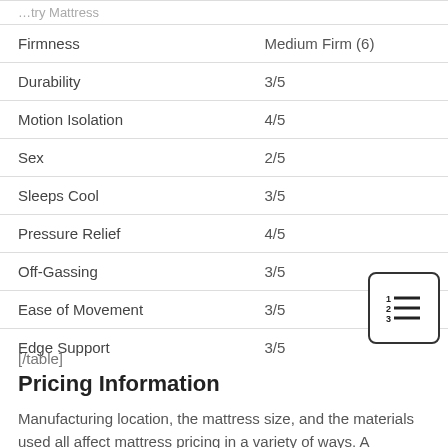| Attribute | Rating |
| --- | --- |
| Firmness | Medium Firm (6) |
| Durability | 3/5 |
| Motion Isolation | 4/5 |
| Sex | 2/5 |
| Sleeps Cool | 3/5 |
| Pressure Relief | 4/5 |
| Off-Gassing | 3/5 |
| Ease of Movement | 3/5 |
| Edge Support | 3/5 |
[/table]
Pricing Information
Manufacturing location, the mattress size, and the materials used all affect mattress pricing in a variety of ways. A